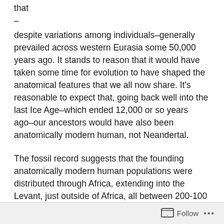that
–
despite variations among individuals–generally prevailed across western Eurasia some 50,000 years ago. It stands to reason that it would have taken some time for evolution to have shaped the anatomical features that we all now share. It's reasonable to expect that, going back well into the last Ice Age–which ended 12,000 or so years ago–our ancestors would have also been anatomically modern human, not Neandertal.
The fossil record suggests that the founding anatomically modern human populations were distributed through Africa, extending into the Levant, just outside of Africa, all between 200-100 thousand years ago (see Wolpoff & Lee, 2012, for a scholarly discussion). But bits of intact DNA extracted from ancient Neandertal and anatomically modern human bones alike confirm–with remarkable
Follow ···